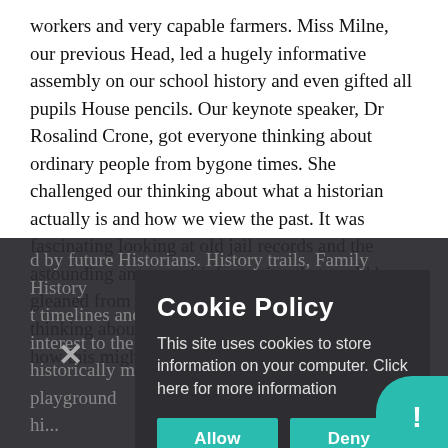workers and very capable farmers. Miss Milne, our previous Head, led a hugely informative assembly on our school history and even gifted all pupils House pencils. Our keynote speaker, Dr Rosalind Crone, got everyone thinking about ordinary people from bygone times. She challenged our thinking about what a historian actually is and how we view the past. It was fascinating looking at old jail records and the astounding amount of information that could be gleaned from them. Naturally, this got everyone thinking about their own digital footprints and how this might be
...by future Historians. History trails, Family History timelines and a local museum visit added great interest to the week. The week was rounded off with a memorable outdoor activity. The Head Playground history moment of our trails. The Head playground history...
Cookie Policy
This site uses cookies to store information on your computer. Click here for more information
Allow Cookies
Deny Cookies